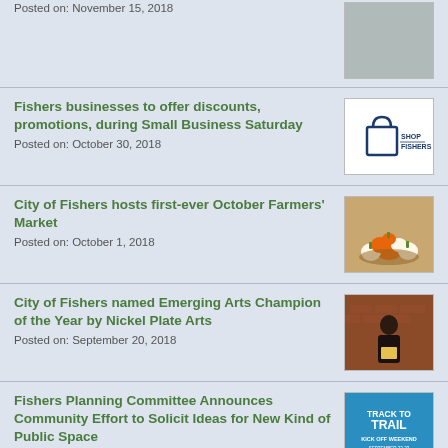Posted on: November 15, 2018
Fishers businesses to offer discounts, promotions, during Small Business Saturday
Posted on: October 30, 2018
City of Fishers hosts first-ever October Farmers' Market
Posted on: October 1, 2018
City of Fishers named Emerging Arts Champion of the Year by Nickel Plate Arts
Posted on: September 20, 2018
Fishers Planning Committee Announces Community Effort to Solicit Ideas for New Kind of Public Space
Posted on: September 18, 2018
Mayor Scott Fadness Names New Director of Parks & Recreation